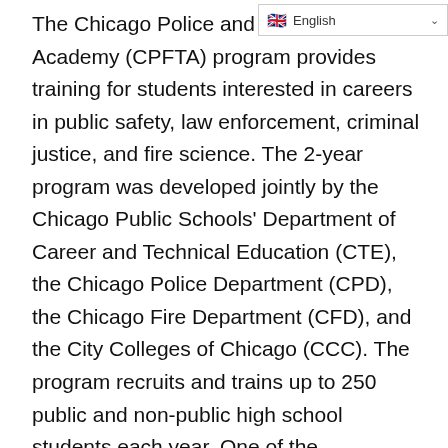The Chicago Police and Fire Training Academy (CPFTA) program provides training for students interested in careers in public safety, law enforcement, criminal justice, and fire science. The 2-year program was developed jointly by the Chicago Public Schools' Department of Career and Technical Education (CTE), the Chicago Police Department (CPD), the Chicago Fire Department (CFD), and the City Colleges of Chicago (CCC). The program recruits and trains up to 250 public and non-public high school students each year. One of the immediate goals is to provide a pool of qualified applicants for the city's police and fire academies.
The CPFTA program fulfills the two career